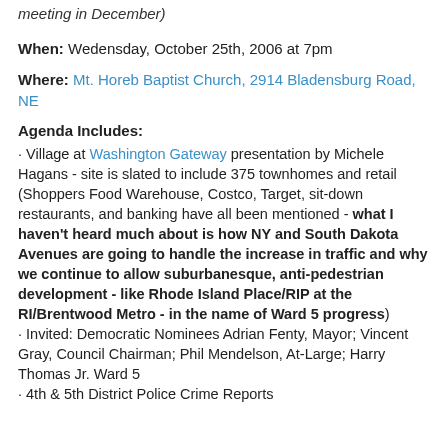meeting in December)
When: Wedensday, October 25th, 2006 at 7pm
Where: Mt. Horeb Baptist Church, 2914 Bladensburg Road, NE
Agenda Includes:
· Village at Washington Gateway presentation by Michele Hagans - site is slated to include 375 townhomes and retail (Shoppers Food Warehouse, Costco, Target, sit-down restaurants, and banking have all been mentioned - what I haven't heard much about is how NY and South Dakota Avenues are going to handle the increase in traffic and why we continue to allow suburbanesque, anti-pedestrian development - like Rhode Island Place/RIP at the RI/Brentwood Metro - in the name of Ward 5 progress)
· Invited: Democratic Nominees Adrian Fenty, Mayor; Vincent Gray, Council Chairman; Phil Mendelson, At-Large; Harry Thomas Jr. Ward 5
· 4th & 5th District Police Crime Reports